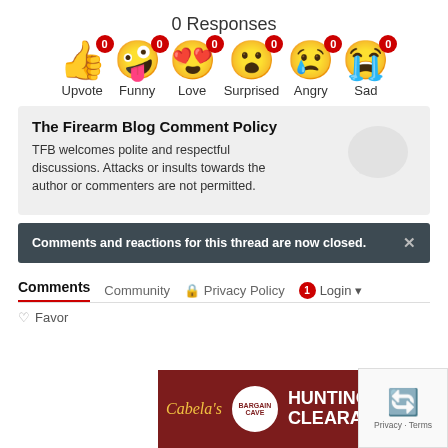0 Responses
[Figure (infographic): Six emoji reaction buttons each showing a count of 0: Upvote (thumbs up), Funny (squinting laughing face), Love (heart eyes), Surprised (open mouth), Angry (crying/angry face), Sad (crying face)]
The Firearm Blog Comment Policy
TFB welcomes polite and respectful discussions. Attacks or insults towards the author or commenters are not permitted.
Comments and reactions for this thread are now closed.
Comments   Community   Privacy Policy   Login
Favor
[Figure (infographic): Cabela's Hunting Clearance advertisement banner with Bargain Cave badge and SHOP NOW button]